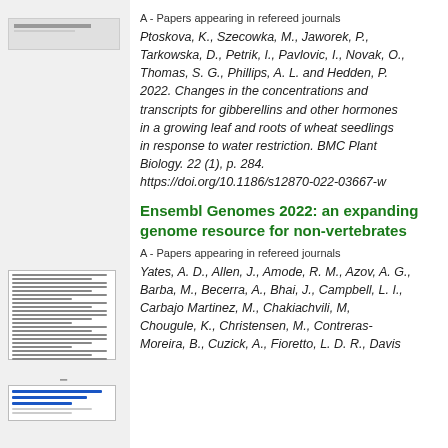[Figure (other): Small thumbnail image of a document page at top left]
A - Papers appearing in refereed journals
Ptoskova, K., Szecowka, M., Jaworek, P., Tarkowska, D., Petrik, I., Pavlovic, I., Novak, O., Thomas, S. G., Phillips, A. L. and Hedden, P. 2022. Changes in the concentrations and transcripts for gibberellins and other hormones in a growing leaf and roots of wheat seedlings in response to water restriction. BMC Plant Biology. 22 (1), p. 284. https://doi.org/10.1186/s12870-022-03667-w
[Figure (other): Thumbnail images of document pages at bottom left, including paper preview and blue bar chart thumbnail]
Ensembl Genomes 2022: an expanding genome resource for non-vertebrates
A - Papers appearing in refereed journals
Yates, A. D., Allen, J., Amode, R. M., Azov, A. G., Barba, M., Becerra, A., Bhai, J., Campbell, L. I., Carbajo Martinez, M., Chakiachvili, M, Chougule, K., Christensen, M., Contreras-Moreira, B., Cuzick, A., Fioretto, L. D. R., Davis